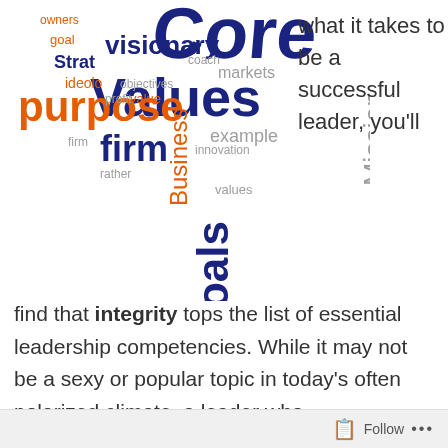[Figure (infographic): Word cloud featuring terms like Core, Values, purpose, firm, goals, visionary, Mission, Vision, Business, Strategy, and others in various colors (orange, dark blue, gray) of varying sizes.]
what it takes to be a successful leader, you'll find that integrity tops the list of essential leadership competencies. While it may not be a sexy or popular topic in today's often polarized climate, a leader who demonstrates integrity through truthfulness, accountability, and efforts to keep their promises, is much more likely to be trusted and followed, than those leaders who don't. Webster's dictionary defines integrity as a firm adherence to a code of values. As I've
Follow ...